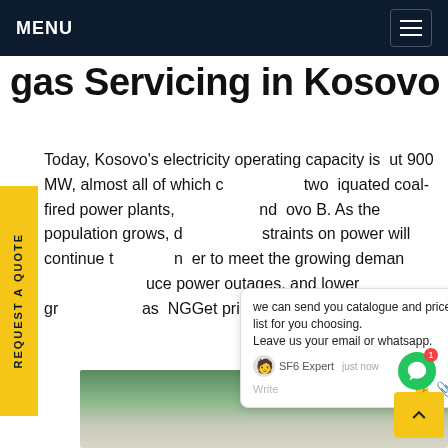MENU
gas Servicing in Kosovo
Today, Kosovo's electricity operating capacity is about 900 MW, almost all of which comes from two antiquated coal-fired power plants, Kosovo A and Kosovo B. As the population grows, demands and constraints on power will continue to grow. In order to meet the growing demand for electricity, reduce power outages, and lower greenhouse gas emissions...NGGet price
[Figure (screenshot): Chat popup overlay with text: 'we can send you catalogue and price list for you choosing. Leave us your email or whatsapp.' SF6 Expert agent shown. Write area with thumb and paperclip icons.]
[Figure (photo): Outdoor photo showing a vehicle/equipment with trees in the background.]